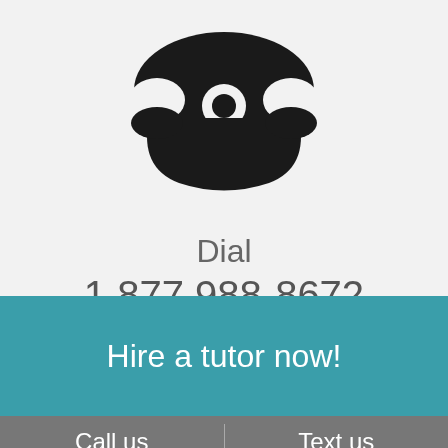[Figure (illustration): Black telephone/rotary phone icon, top view, classic style]
Dial
1 877 988-8672
Hire a tutor now!
Call us
Text us